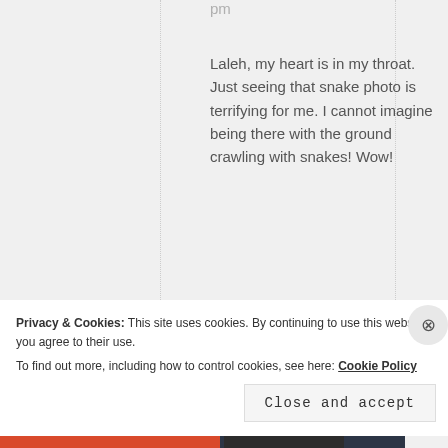pm
Laleh, my heart is in my throat. Just seeing that snake photo is terrifying for me. I cannot imagine being there with the ground crawling with snakes! Wow!
★ Liked by 1 person
REPLY ↓
Privacy & Cookies: This site uses cookies. By continuing to use this website, you agree to their use.
To find out more, including how to control cookies, see here: Cookie Policy
Close and accept
All in One Free App
DuckDuckGo